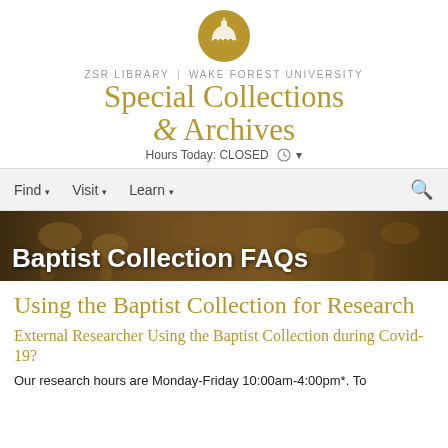[Figure (logo): ZSR Library Wake Forest University Special Collections & Archives logo with golden dome icon]
ZSR LIBRARY | WAKE FOREST UNIVERSITY
Special Collections & Archives
Hours Today: CLOSED
Find ▾  Visit ▾  Learn ▾
[Figure (photo): Sepia-toned banner photo of decorative stone architectural details]
Baptist Collection FAQs
Using the Baptist Collection for Research
External Researcher Using the Baptist Collection during Covid-19?
Our research hours are Monday-Friday 10:00am-4:00pm*. To